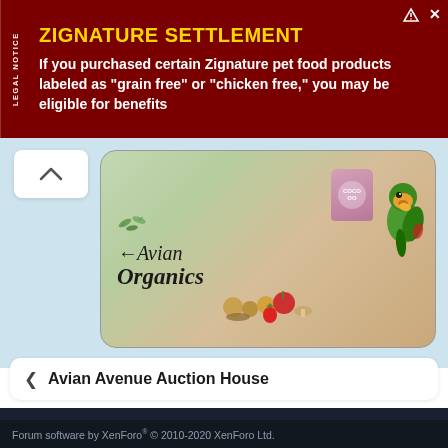[Figure (infographic): Legal notice advertisement banner. Dark red background with 'LEGAL NOTICE' tab on left side rotated vertically. Title 'ZIGNATURE SETTLEMENT' in gold/yellow bold text. Body text: 'If you purchased certain Zignature pet food products labeled as "grain free" or "chicken free," you may be eligible for benefits'. Close button icons in top right.]
[Figure (infographic): White rounded rectangle on left with up chevron arrow icon. Below is an advertisement for 'Avian Organics' showing the brand name in italic script on a natural background with food products and parrots.]
< Avian Avenue Auction House
TERMS AND RULES   PRIVACY POLICY   HELP
[Figure (logo): Avian Avenue website logo on dark navy/dark blue background with orange/brown wooden perch. Text 'AVIAN AVENUE' in large white letters with colorful parrot illustrations on the right side.]
Forum software by XenForo® © 2010-2020 XenForo Ltd.